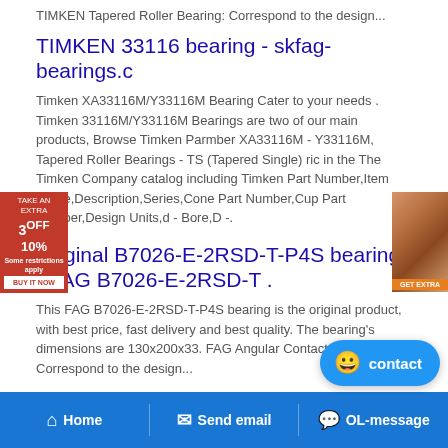TIMKEN Tapered Roller Bearing: Correspond to the design...
TIMKEN 33116 bearing - skfag-bearings.c
Timken XA33116M/Y33116M Bearing Cater to your needs . Timken 33116M/Y33116M Bearings are two of our main products, Browse Timken Part Number XA33116M - Y33116M, Tapered Roller Bearings - TS (Tapered Single) ric in the The Timken Company catalog including Timken Part Number,Item Name,Description,Series,Cone Part Number,Cup Part Number,Design Units,d - Bore,D -.
[Figure (other): Advertisement overlay showing 3OFF 10% discount with red background and a photo of a person]
Original B7026-E-2RSD-T-P4S bearing - FAG B7026-E-2RSD-T .
This FAG B7026-E-2RSD-T-P4S bearing is the original product, with best price, fast delivery and best quality. The bearing's dimensions are 130x200x33. FAG Angular Contact Ball Bearing: Correspond to the design...
TIMKEN 6386A/6320 Bearing - acfla.o
TIMKEN 6386A/6320 bearing is one of our best-selling products. 6386A/6320 are mainly used in construction machinery, machine tools, automobiles,
[Figure (other): Contact bubble button with smiley face icon]
Home   Send email   OL-message